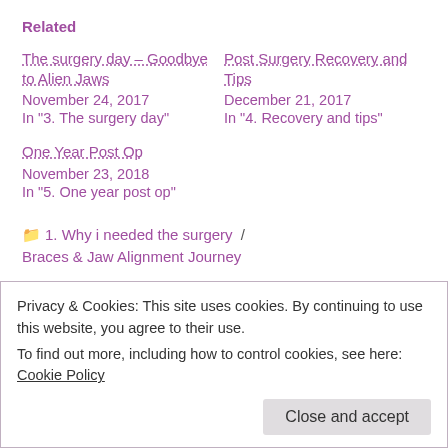Related
The surgery day – Goodbye to Alien Jaws
November 24, 2017
In "3. The surgery day"
Post Surgery Recovery and Tips
December 21, 2017
In "4. Recovery and tips"
One Year Post Op
November 23, 2018
In "5. One year post op"
📁 1. Why i needed the surgery / Braces & Jaw Alignment Journey
Privacy & Cookies: This site uses cookies. By continuing to use this website, you agree to their use.
To find out more, including how to control cookies, see here: Cookie Policy